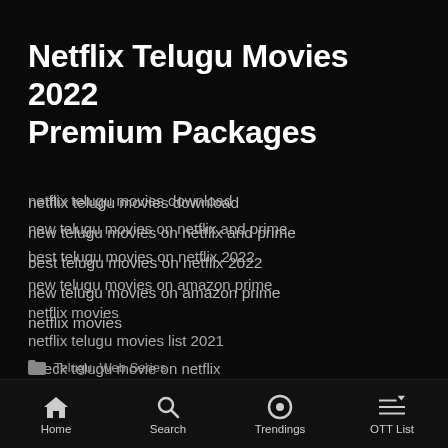Netflix Telugu Movies 2022 Premium Packages
netflix telugu movies download
new telugu movies on netflix and prime
best telugu movies on netflix 2022
new telugu movies on amazon prime
netflix movies
netflix telugu movies list 2021
check telugu movie on netflix
new malayalam movies on netflix 2022
Telugu, Web Series
Home  Search  Trendings  OTT List